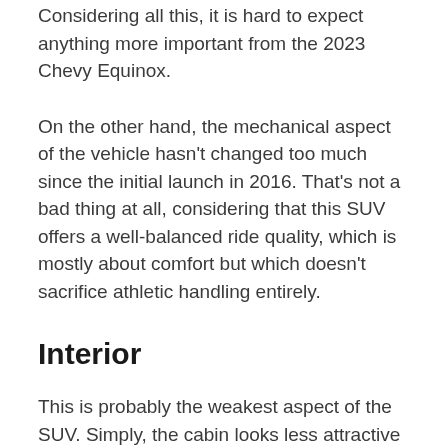Considering all this, it is hard to expect anything more important from the 2023 Chevy Equinox.
On the other hand, the mechanical aspect of the vehicle hasn't changed too much since the initial launch in 2016. That's not a bad thing at all, considering that this SUV offers a well-balanced ride quality, which is mostly about comfort but which doesn't sacrifice athletic handling entirely.
Interior
This is probably the weakest aspect of the SUV. Simply, the cabin looks less attractive compared to the cabins of rivals. The dashboard looks good but it lacks refinement and quality. The materials are mostly plastics, while the build quality isn't all that great either. Also, the sound insulation could be better.